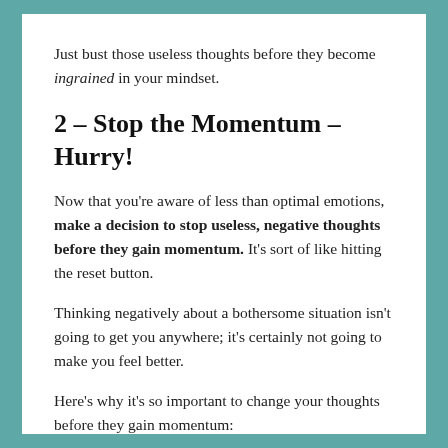Just bust those useless thoughts before they become ingrained in your mindset.
2 – Stop the Momentum – Hurry!
Now that you're aware of less than optimal emotions, make a decision to stop useless, negative thoughts before they gain momentum. It's sort of like hitting the reset button.
Thinking negatively about a bothersome situation isn't going to get you anywhere; it's certainly not going to make you feel better.
Here's why it's so important to change your thoughts before they gain momentum: